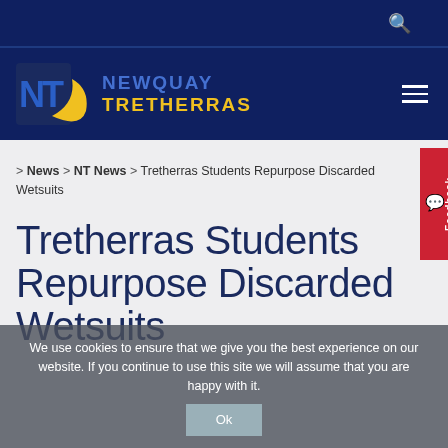[Figure (logo): Newquay Tretherras school logo with NT initials and crescent, navy background]
> News > NT News > Tretherras Students Repurpose Discarded Wetsuits
Tretherras Students Repurpose Discarded Wetsuits
We use cookies to ensure that we give you the best experience on our website. If you continue to use this site we will assume that you are happy with it. Ok